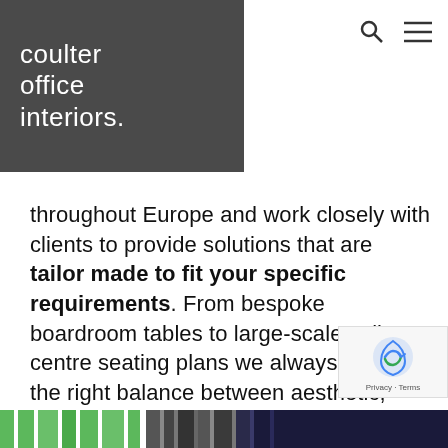coulter office interiors.
throughout Europe and work closely with clients to provide solutions that are tailor made to fit your specific requirements. From bespoke boardroom tables to large-scale call-centre seating plans we always strike the right balance between aesthetic, flexibility, durability and cost.
[Figure (photo): Circular cropped photo of a modern boardroom interior with a long table, dark notebooks/folders on the table surface, green chairs in the background, and a glowing screen/projection in the background.]
Privacy · Terms